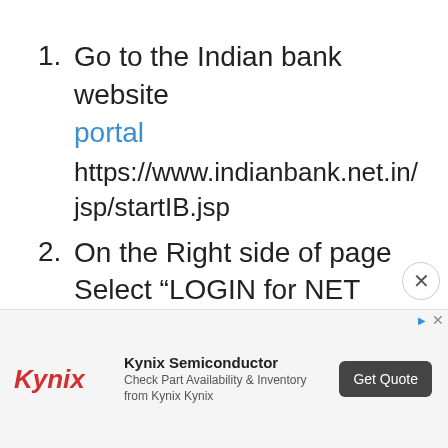1. Go to the Indian bank website portal https://www.indianbank.net.in/jsp/startIB.jsp
2. On the Right side of page Select “LOGIN for NET BANKING”
[Figure (other): Advertisement banner for Kynix Semiconductor with logo, text 'Check Part Availability & Inventory from Kynix Kynix', and a 'Get Quote' button]